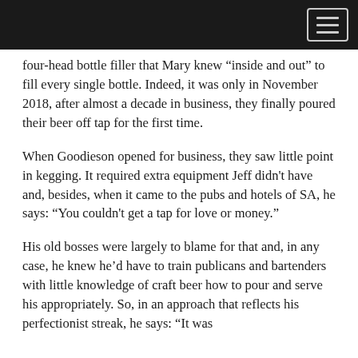[navigation header bar with menu button]
four-head bottle filler that Mary knew “inside and out” to fill every single bottle. Indeed, it was only in November 2018, after almost a decade in business, they finally poured their beer off tap for the first time.
When Goodieson opened for business, they saw little point in kegging. It required extra equipment Jeff didn't have and, besides, when it came to the pubs and hotels of SA, he says: “You couldn't get a tap for love or money.”
His old bosses were largely to blame for that and, in any case, he knew he’d have to train publicans and bartenders with little knowledge of craft beer how to pour and serve his appropriately. So, in an approach that reflects his perfectionist streak, he says: “It was